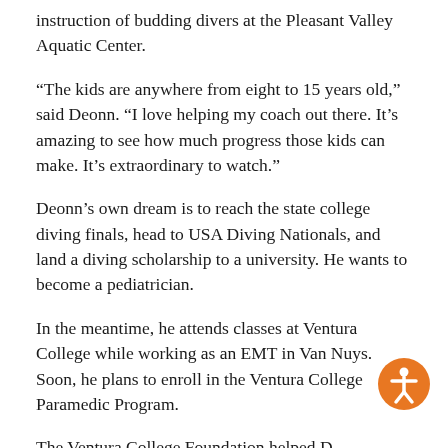instruction of budding divers at the Pleasant Valley Aquatic Center.
“The kids are anywhere from eight to 15 years old,” said Deonn. “I love helping my coach out there. It’s amazing to see how much progress those kids can make. It’s extraordinary to watch.”
Deonn’s own dream is to reach the state college diving finals, head to USA Diving Nationals, and land a diving scholarship to a university. He wants to become a pediatrician.
In the meantime, he attends classes at Ventura College while working as an EMT in Van Nuys. Soon, he plans to enroll in the Ventura College Paramedic Program.
The Ventura College Foundation helped D...